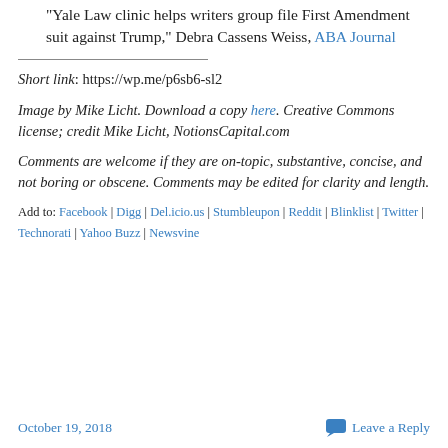"Yale Law clinic helps writers group file First Amendment suit against Trump," Debra Cassens Weiss, ABA Journal
Short link: https://wp.me/p6sb6-sl2
Image by Mike Licht. Download a copy here. Creative Commons license; credit Mike Licht, NotionsCapital.com
Comments are welcome if they are on-topic, substantive, concise, and not boring or obscene. Comments may be edited for clarity and length.
Add to: Facebook | Digg | Del.icio.us | Stumbleupon | Reddit | Blinklist | Twitter | Technorati | Yahoo Buzz | Newsvine
October 19, 2018    Leave a Reply